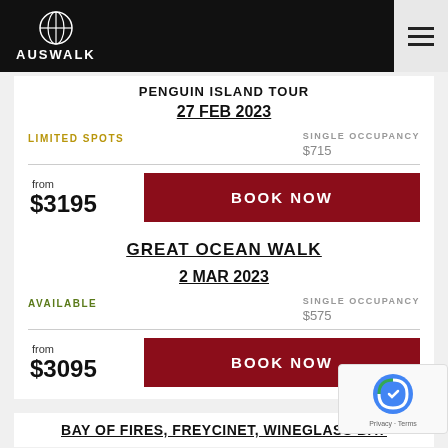AUSWALK
PENGUIN ISLAND TOUR
27 FEB 2023
LIMITED SPOTS
SINGLE OCCUPANCY $715
from $3195
BOOK NOW
GREAT OCEAN WALK
2 MAR 2023
AVAILABLE
SINGLE OCCUPANCY $575
from $3095
BOOK NOW
BAY OF FIRES, FREYCINET, WINEGLASS BAY